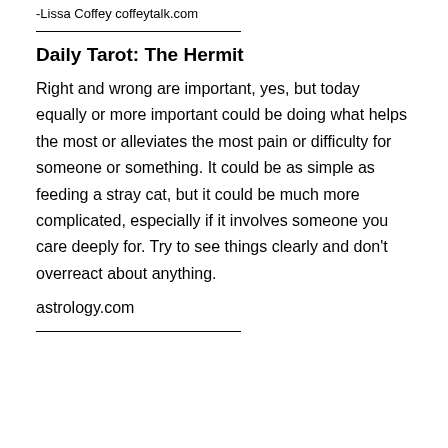-Lissa Coffey coffeytalk.com
Daily Tarot: The Hermit
Right and wrong are important, yes, but today equally or more important could be doing what helps the most or alleviates the most pain or difficulty for someone or something. It could be as simple as feeding a stray cat, but it could be much more complicated, especially if it involves someone you care deeply for. Try to see things clearly and don't overreact about anything.
astrology.com